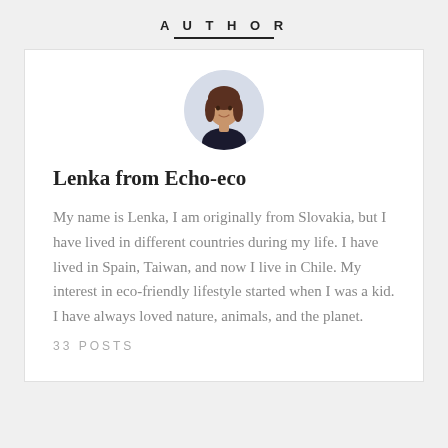AUTHOR
[Figure (photo): Circular profile photo of a woman with long brown hair wearing a dark blazer, set against a light blue-grey circular background]
Lenka from Echo-eco
My name is Lenka, I am originally from Slovakia, but I have lived in different countries during my life. I have lived in Spain, Taiwan, and now I live in Chile. My interest in eco-friendly lifestyle started when I was a kid. I have always loved nature, animals, and the planet.
33 POSTS